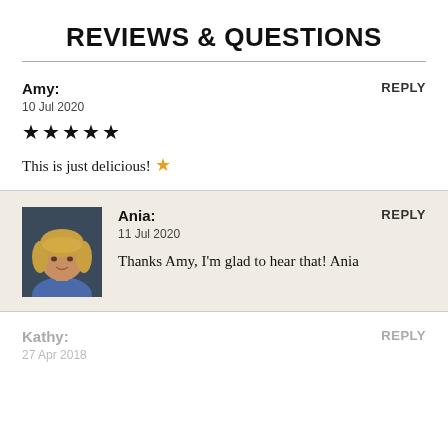REVIEWS & QUESTIONS
Amy:
10 Jul 2020
★★★★★
This is just delicious! ⭐
REPLY
Ania:
11 Jul 2020
Thanks Amy, I'm glad to hear that! Ania
REPLY
Kathy:
27 Apr 2018
REPLY